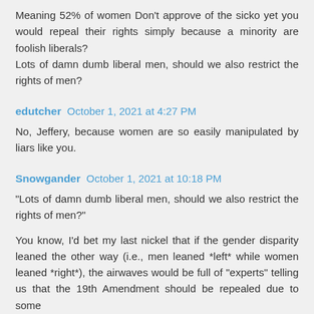Meaning 52% of women Don't approve of the sicko yet you would repeal their rights simply because a minority are foolish liberals?
Lots of damn dumb liberal men, should we also restrict the rights of men?
edutcher October 1, 2021 at 4:27 PM
No, Jeffery, because women are so easily manipulated by liars like you.
Snowgander October 1, 2021 at 10:18 PM
"Lots of damn dumb liberal men, should we also restrict the rights of men?"
You know, I'd bet my last nickel that if the gender disparity leaned the other way (i.e., men leaned *left* while women leaned *right*), the airwaves would be full of "experts" telling us that the 19th Amendment should be repealed due to some